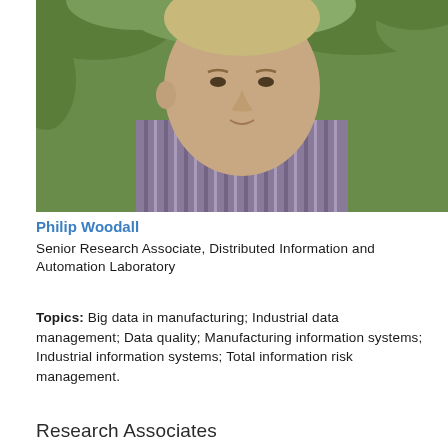[Figure (photo): Headshot photo of Philip Woodall, a man in a striped purple/white shirt, outdoors with green foliage background]
Philip Woodall
Senior Research Associate, Distributed Information and Automation Laboratory
Topics: Big data in manufacturing; Industrial data management; Data quality; Manufacturing information systems; Industrial information systems; Total information risk management.
Research Associates